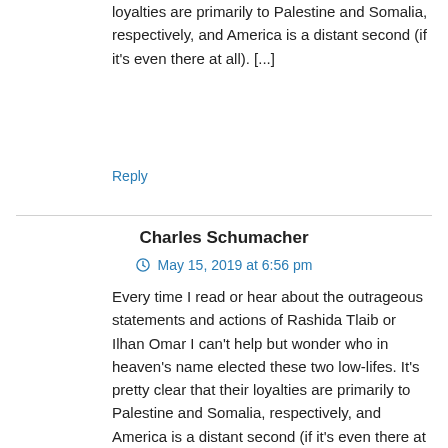loyalties are primarily to Palestine and Somalia, respectively, and America is a distant second (if it's even there at all). [...]
Reply
Charles Schumacher
May 15, 2019 at 6:56 pm
Every time I read or hear about the outrageous statements and actions of Rashida Tlaib or Ilhan Omar I can't help but wonder who in heaven's name elected these two low-lifes. It's pretty clear that their loyalties are primarily to Palestine and Somalia, respectively, and America is a distant second (if it's even there at all). And they have the audacity to accuse American Jews of having divided loyalty! Some ambitious investigative reporter should do an audit of the voter registrations in the districts they represent. I wonder how many of these voters are actually American citizens.